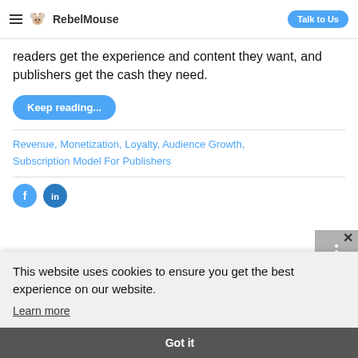RebelMouse — Talk to Us
readers get the experience and content they want, and publishers get the cash they need.
Keep reading...
Revenue, Monetization, Loyalty, Audience Growth, Subscription Model For Publishers
This website uses cookies to ensure you get the best experience on our website.
Learn more
Got it